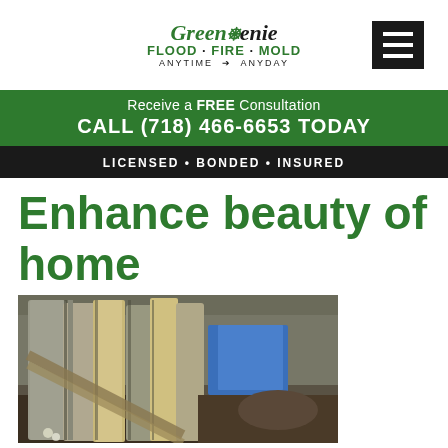[Figure (logo): Green Genie Flood Fire Mold logo with tagline ANYTIME ANYDAY and hamburger menu button]
Receive a FREE Consultation
CALL (718) 466-6653 TODAY
LICENSED · BONDED · INSURED
Enhance beauty of home
[Figure (photo): Outdoor photo of weathered wooden fence planks leaning against a chain-link fence, with blue tarp and bare soil/yard debris visible in background]